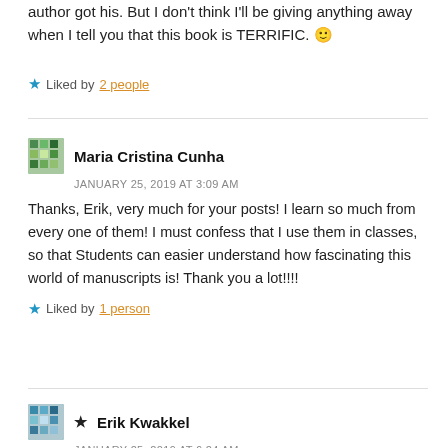author got his. But I don't think I'll be giving anything away when I tell you that this book is TERRIFIC. 🙂
★ Liked by 2 people
Maria Cristina Cunha
JANUARY 25, 2019 AT 3:09 AM
Thanks, Erik, very much for your posts! I learn so much from every one of them! I must confess that I use them in classes, so that Students can easier understand how fascinating this world of manuscripts is! Thank you a lot!!!!
★ Liked by 1 person
★ Erik Kwakkel
JANUARY 25, 2019 AT 6:24 AM